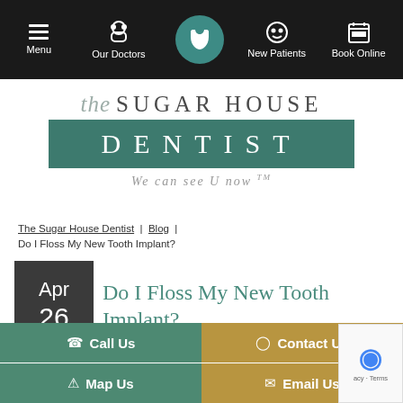Menu | Our Doctors | Call | New Patients | Book Online
[Figure (logo): The Sugar House Dentist logo with teal banner and tagline 'We can see U now TM']
The Sugar House Dentist | Blog | Do I Floss My New Tooth Implant?
Do I Floss My New Tooth Implant?
Apr 26
Call Us | Contact Us | Map Us | Email Us